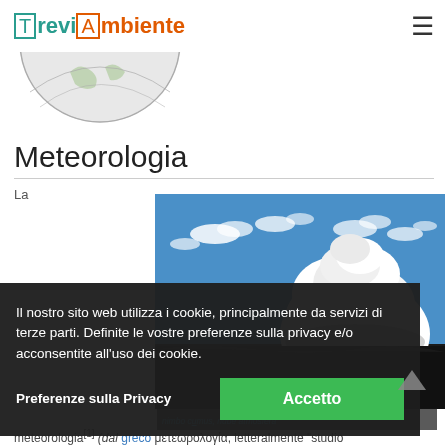TreviAmbiente — navigation logo and hamburger menu
[Figure (photo): Partial globe/earth image, top portion visible]
Meteorologia
La
[Figure (photo): Sky with large white cumulonimbus cloud against blue sky, darker landscape at bottom]
nimbo cǔmus, nube atmosfera
Il nostro sito web utilizza i cookie, principalmente da servizi di terze parti. Definite le vostre preferenze sulla privacy e/o acconsentite all'uso dei cookie.
Preferenze sulla Privacy
Accetto
meteorologia[1] (dal greco μετεωρολογία, letteralmente "studio